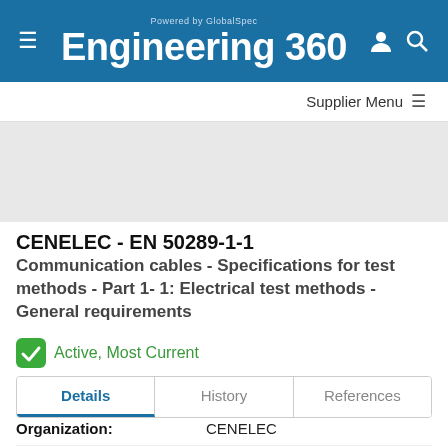Powered by GlobalSpec Engineering 360
CENELEC - EN 50289-1-1
Communication cables - Specifications for test methods - Part 1- 1: Electrical test methods - General requirements
Active, Most Current
Details | History | References
| Field | Value |
| --- | --- |
| Organization: | CENELEC |
| Publication Date: | 1 March 2017 |
| Status: | Active |
| Page Count: | 26 |